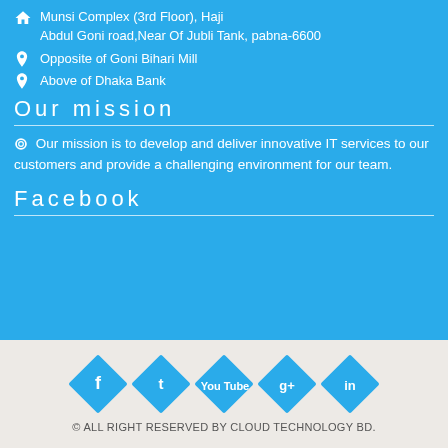Munsi Complex (3rd Floor), Haji Abdul Goni road,Near Of Jubli Tank, pabna-6600
Opposite of Goni Bihari Mill
Above of Dhaka Bank
Our mission
Our mission is to develop and deliver innovative IT services to our customers and provide a challenging environment for our team.
Facebook
[Figure (infographic): Five blue diamond-shaped social media icons: Facebook (f), Twitter (bird/t), YouTube (play), Google+ (g+), LinkedIn (in)]
© ALL RIGHT RESERVED BY CLOUD TECHNOLOGY BD.